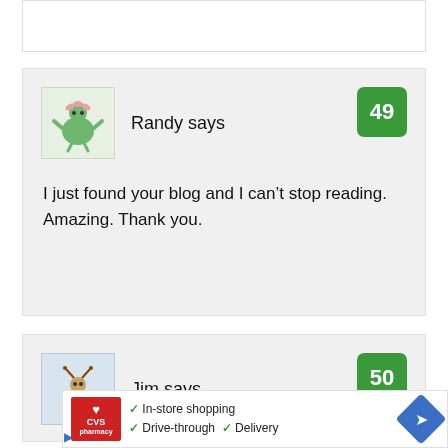[Figure (illustration): Top white box, partially visible, with border]
Randy says
49
[Figure (illustration): Cartoon green monster/plant character avatar for Randy]
I just found your blog and I can't stop reading. Amazing. Thank you.
Jim says
50
[Figure (illustration): Cartoon bug/insect character avatar for Jim, partially visible]
[Figure (screenshot): CVS Pharmacy advertisement showing In-store shopping, Drive-through, and Delivery checkmarks with navigation arrow icon]